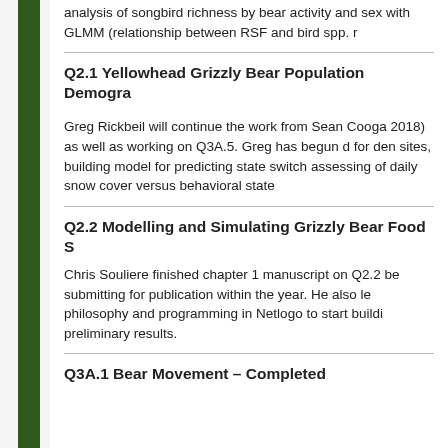analysis of songbird richness by bear activity and sex with GLMM (relationship between RSF and bird spp. r
Q2.1 Yellowhead Grizzly Bear Population Demogra
Greg Rickbeil will continue the work from Sean Cooga 2018) as well as working on Q3A.5. Greg has begun d for den sites, building model for predicting state switch assessing of daily snow cover versus behavioral state
Q2.2 Modelling and Simulating Grizzly Bear Food S
Chris Souliere finished chapter 1 manuscript on Q2.2 be submitting for publication within the year. He also le philosophy and programming in Netlogo to start buildi preliminary results.
Q3A.1 Bear Movement – Completed